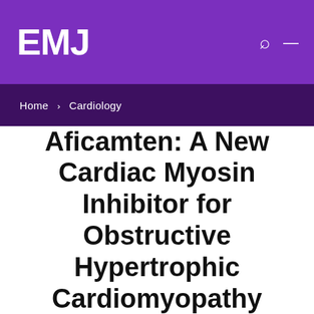EMJ
Home > Cardiology
Aficamten: A New Cardiac Myosin Inhibitor for Obstructive Hypertrophic Cardiomyopathy